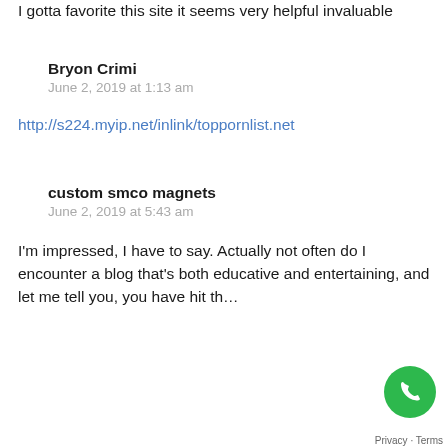I gotta favorite this site it seems very helpful invaluable
Bryon Crimi
June 2, 2019 at 1:13 am
http://s224.myip.net/inlink/toppornlist.net
custom smco magnets
June 2, 2019 at 5:43 am
I'm impressed, I have to say. Actually not often do I encounter a blog that's both educative and entertaining, and let me tell you, you have hit th...